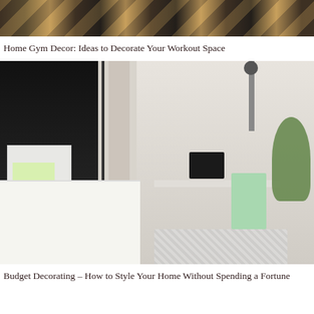[Figure (photo): Top portion of a home gym photo showing striped dark and light wood flooring at an angle]
Home Gym Decor: Ideas to Decorate Your Workout Space
[Figure (photo): Bedroom with black room divider, white bed with yellow-green pillow, white desk with monitor, mint green metal chair, grey curtains, and indoor plants]
Budget Decorating – How to Style Your Home Without Spending a Fortune